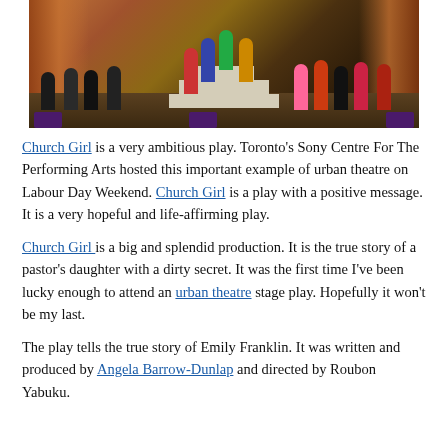[Figure (photo): A stage production photo showing multiple performers on a theatrical stage with steps, colorful costumes, and dramatic lighting with curtain backdrops.]
Church Girl is a very ambitious play. Toronto's Sony Centre For The Performing Arts hosted this important example of urban theatre on Labour Day Weekend. Church Girl is a play with a positive message. It is a very hopeful and life-affirming play.
Church Girl is a big and splendid production. It is the true story of a pastor's daughter with a dirty secret. It was the first time I've been lucky enough to attend an urban theatre stage play. Hopefully it won't be my last.
The play tells the true story of Emily Franklin. It was written and produced by Angela Barrow-Dunlap and directed by Roubon Yabuku.